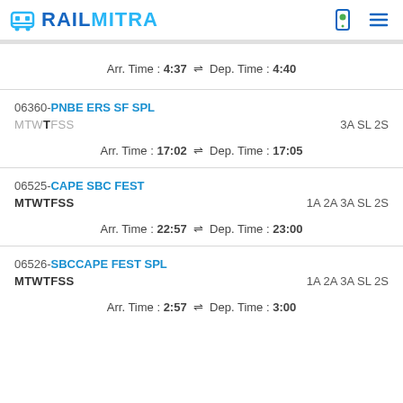RAILMITRA
Arr. Time : 4:37 ⇌ Dep. Time : 4:40
06360-PNBE ERS SF SPL
MTWTFSS  3A SL 2S
Arr. Time : 17:02 ⇌ Dep. Time : 17:05
06525-CAPE SBC FEST
MTWTFSS  1A 2A 3A SL 2S
Arr. Time : 22:57 ⇌ Dep. Time : 23:00
06526-SBCCAPE FEST SPL
MTWTFSS  1A 2A 3A SL 2S
Arr. Time : 2:57 ⇌ Dep. Time : 3:00